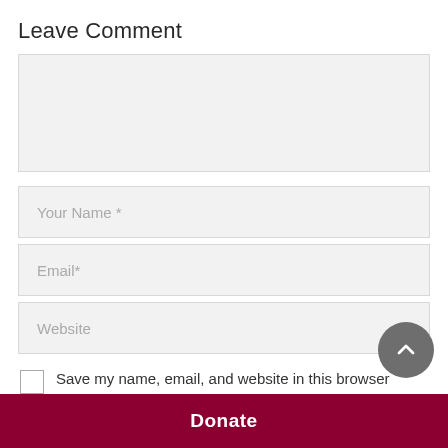Leave Comment
[Figure (screenshot): Large empty comment text area input field with light gray background]
[Figure (screenshot): Your Name * text input field with light gray background]
[Figure (screenshot): Email* text input field with light gray background]
[Figure (screenshot): Website text input field with light gray background]
Save my name, email, and website in this browser for the next time I comment.
[Figure (other): Scroll-to-top circular button with up arrow chevron]
Donate